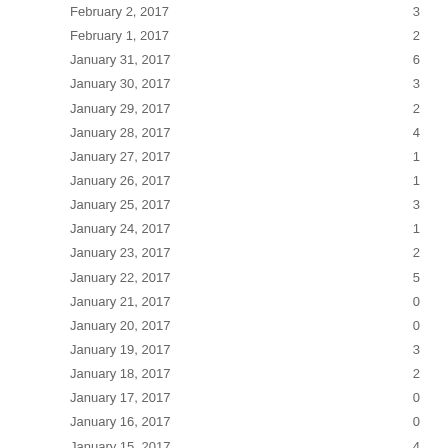| Date | Count |
| --- | --- |
| February 2, 2017 | 3 |
| February 1, 2017 | 2 |
| January 31, 2017 | 6 |
| January 30, 2017 | 3 |
| January 29, 2017 | 2 |
| January 28, 2017 | 4 |
| January 27, 2017 | 1 |
| January 26, 2017 | 1 |
| January 25, 2017 | 3 |
| January 24, 2017 | 1 |
| January 23, 2017 | 2 |
| January 22, 2017 | 5 |
| January 21, 2017 | 0 |
| January 20, 2017 | 0 |
| January 19, 2017 | 3 |
| January 18, 2017 | 2 |
| January 17, 2017 | 0 |
| January 16, 2017 | 0 |
| January 15, 2017 | 4 |
| January 14, 2017 | 2 |
| January 13, 2017 | 1 |
| January 12, 2017 | 1 |
| January 11, 2017 | 3 |